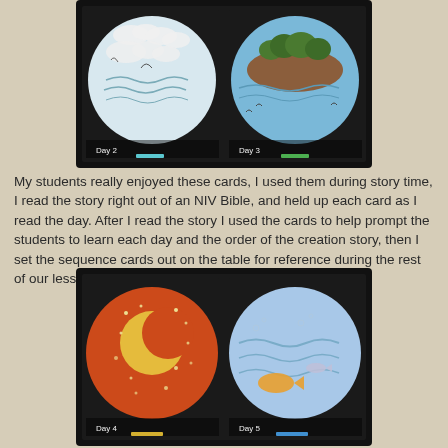[Figure (photo): Two circular creation story cards side by side in a black frame. Left card shows Day 2 with white/light blue background, clouds and wavy water lines. Right card shows Day 3 with blue background, brown land mass with trees, water and birds.]
My students really enjoyed these cards, I used them during story time, I read the story right out of an NIV Bible, and held up each card as I read the day. After I read the story I used the cards to help prompt the students to learn each day and the order of the creation story, then I set the sequence cards out on the table for reference during the rest of our lesson.
[Figure (photo): Two circular creation story cards side by side in a black frame. Left card shows Day 4 with orange/red background and a crescent moon with glitter stars. Right card shows Day 5 with blue background showing fish and ocean creatures.]